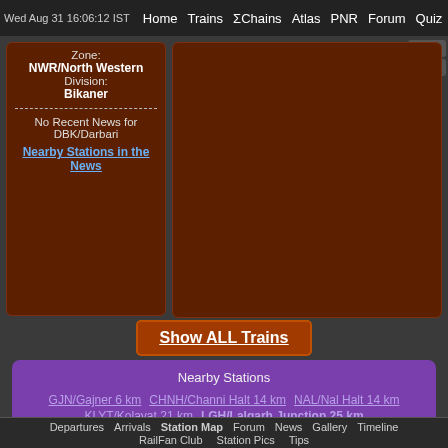Wed Aug 31 16:06:12 IST  Home  Trains  ΣChains  Atlas  PNR  Forum  Quiz
Zone: NWR/North Western Division: Bikaner
No Recent News for DBK/Darbari Nearby Stations in the News
Show ALL Trains
Nearby Stations
GJN/Gajner 6 km
CHNH/Channi Halt 14 km
NAL/Nal Halt 14 km
KLYT/Kolayat 21 km
LGH/Lalgarh Junction 25 km
BKN/Bikaner Junction 29 km
KNSR/Kanasar 36 km
DTRD/Diyatara Road 37 km
UMS/Udramsar 40 km
Departures  Arrivals  Station Map  Forum  News  Gallery  Timeline  RailFan Club  Station Pics  Tips